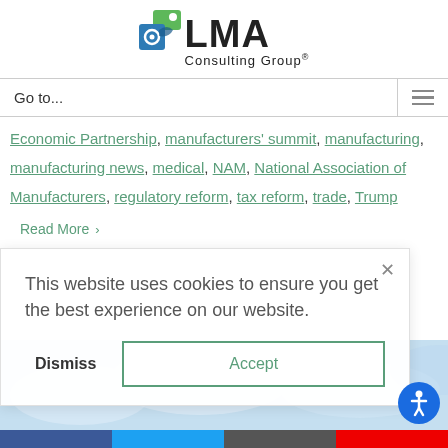[Figure (logo): LMA Consulting Group logo with green and blue icon and company name]
Go to...
Economic Partnership, manufacturers' summit, manufacturing, manufacturing news, medical, NAM, National Association of Manufacturers, regulatory reform, tax reform, trade, Trump
Read More >
This website uses cookies to ensure you get the best experience on our website.
Dismiss
Accept
[Figure (photo): Sky and clouds background image]
[Figure (illustration): Accessibility icon button (blue circle with person symbol)]